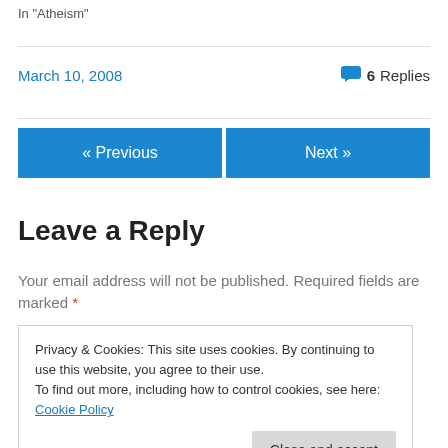In "Atheism"
March 10, 2008
6 Replies
« Previous
Next »
Leave a Reply
Your email address will not be published. Required fields are marked *
Privacy & Cookies: This site uses cookies. By continuing to use this website, you agree to their use.
To find out more, including how to control cookies, see here: Cookie Policy
Close and accept